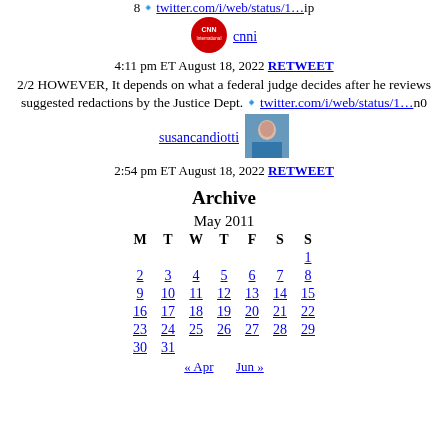8🔹twitter.com/i/web/status/1…ip
[Figure (logo): CNN International red circular logo]
cnni
4:11 pm ET August 18, 2022 RETWEET
2/2 HOWEVER, It depends on what a federal judge decides after he reviews suggested redactions by the Justice Dept.🔹twitter.com/i/web/status/1…n0
[Figure (photo): Susan Candiotti profile photo, woman in teal blazer]
susancandiotti
2:54 pm ET August 18, 2022 RETWEET
Archive
| M | T | W | T | F | S | S |
| --- | --- | --- | --- | --- | --- | --- |
|  |  |  |  |  |  | 1 |
| 2 | 3 | 4 | 5 | 6 | 7 | 8 |
| 9 | 10 | 11 | 12 | 13 | 14 | 15 |
| 16 | 17 | 18 | 19 | 20 | 21 | 22 |
| 23 | 24 | 25 | 26 | 27 | 28 | 29 |
| 30 | 31 |  |  |  |  |  |
« Apr   Jun »